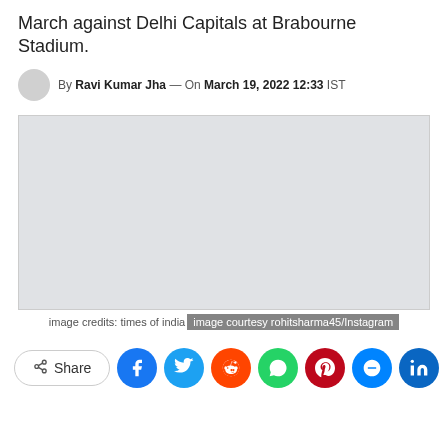March against Delhi Capitals at Brabourne Stadium.
By Ravi Kumar Jha — On March 19, 2022 12:33 IST
[Figure (photo): Placeholder image area with light grey background]
image credits: times of india image courtesy rohitsharma45/Instagram
Share (social sharing buttons: Facebook, Twitter, Reddit, WhatsApp, Pinterest, Messenger, LinkedIn)